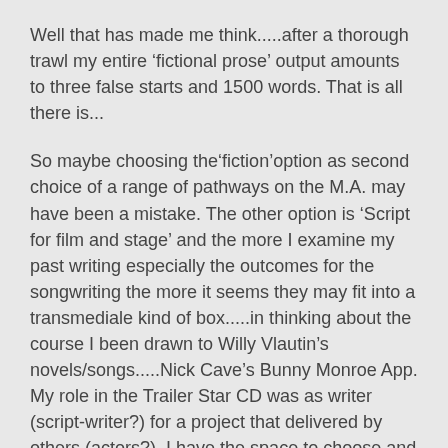Well that has made me think.....after a thorough trawl my entire 'fictional prose' output amounts to three false starts and 1500 words. That is all there is...
So maybe choosing the'fiction'option as second choice of a range of pathways on the M.A. may have been a mistake. The other option is 'Script for film and stage' and the more I examine my past writing especially the outcomes for the songwriting the more it seems they may fit into a transmediale kind of box.....in thinking about the course I been drawn to Willy Vlautin's novels/songs.....Nick Cave's Bunny Monroe App. My role in the Trailer Star CD was as writer (script-writer?) for a project that delivered by others (actors?). I have the space to choose and think I will attend the first sessions of both before making up my mind. Any transmedia project needs good writing...content is king but how one approaches that content can be different. I have written